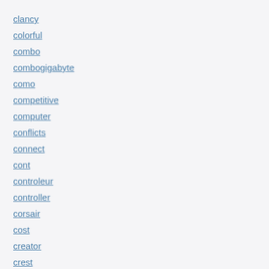clancy
colorful
combo
combogigabyte
como
competitive
computer
conflicts
connect
cont
controleur
controller
corsair
cost
creator
crest
crosshair
crucial
crypto
cs580